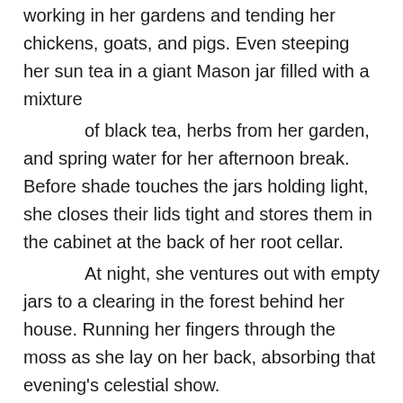working in her gardens and tending her chickens, goats, and pigs. Even steeping her sun tea in a giant Mason jar filled with a mixture

        of black tea, herbs from her garden, and spring water for her afternoon break. Before shade touches the jars holding light, she closes their lids tight and stores them in the cabinet at the back of her root cellar.

        At night, she ventures out with empty jars to a clearing in the forest behind her house. Running her fingers through the moss as she lay on her back, absorbing that evening's celestial show.

        The jars sit open on a flat rock nearby, collecting beams from full moons, constellations, comets, and meteor showers, which she seals before returning home and stores next to the sunlight. On lucky nights, she captures fireflies—poking holes in their lids with a hammer and nail.